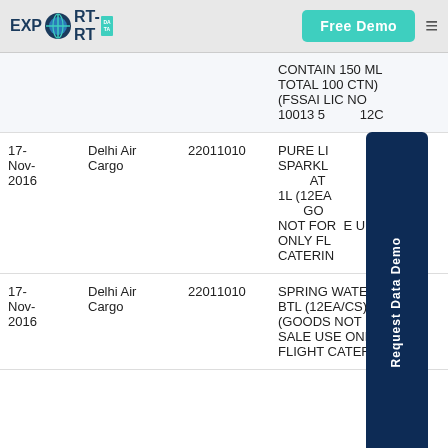EXPORT IMPORT DATA | Free Demo
| Date | Port | HS Code | Description |
| --- | --- | --- | --- |
|  |  |  | CONTAIN 150 ML TOTAL 100 CTN (FSSAI LIC NO 10013050...20... |
| 17-Nov-2016 | Delhi Air Cargo | 22011010 | PURE LI... SPARKL... AT 1L (12EA...GO... NOT FOR E U ONLY FL... CATERI... |
| 17-Nov-2016 | Delhi Air Cargo | 22011010 | SPRING WATER BTL (12EA/CS) (GOODS NOT FO SALE USE ONLY FLIGHT CATERI... |